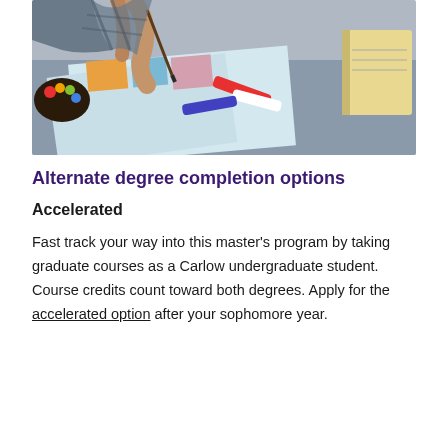[Figure (photo): Person painting or working on artwork with a brush on a desk with art supplies, paint tubes, and reference images]
Alternate degree completion options
Accelerated
Fast track your way into this master’s program by taking graduate courses as a Carlow undergraduate student. Course credits count toward both degrees. Apply for the accelerated option after your sophomore year.